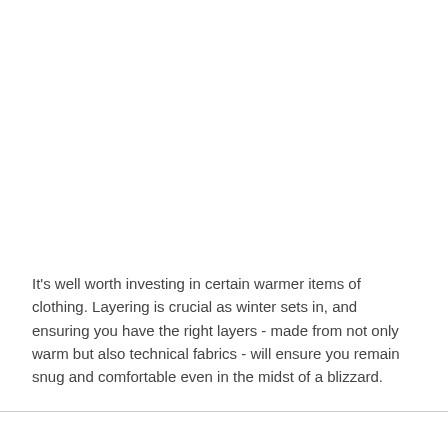It's well worth investing in certain warmer items of clothing. Layering is crucial as winter sets in, and ensuring you have the right layers - made from not only warm but also technical fabrics - will ensure you remain snug and comfortable even in the midst of a blizzard.